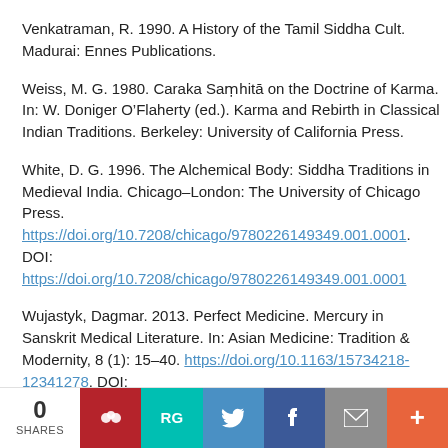Venkatraman, R. 1990. A History of the Tamil Siddha Cult. Madurai: Ennes Publications.
Weiss, M. G. 1980. Caraka Saṃhitā on the Doctrine of Karma. In: W. Doniger O'Flaherty (ed.). Karma and Rebirth in Classical Indian Traditions. Berkeley: University of California Press.
White, D. G. 1996. The Alchemical Body: Siddha Traditions in Medieval India. Chicago–London: The University of Chicago Press. https://doi.org/10.7208/chicago/9780226149349.001.0001. DOI: https://doi.org/10.7208/chicago/9780226149349.001.0001
Wujastyk, Dagmar. 2013. Perfect Medicine. Mercury in Sanskrit Medical Literature. In: Asian Medicine: Tradition & Modernity, 8 (1): 15–40. https://doi.org/10.1163/15734218-12341278. DOI:
0 SHARES | Mendeley | RG | Twitter | Facebook | Email | +